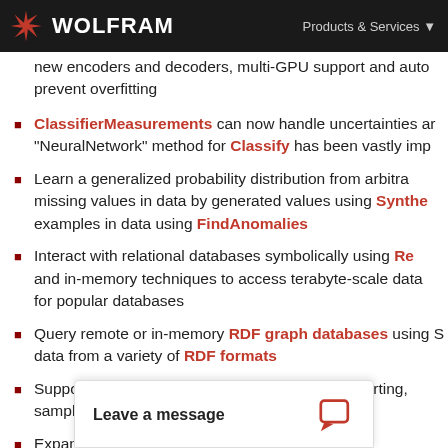WOLFRAM | Products & Services
new encoders and decoders, multi-GPU support and auto prevent overfitting
ClassifierMeasurements can now handle uncertainties and... "NeuralNetwork" method for Classify has been vastly imp...
Learn a generalized probability distribution from arbitra... missing values in data by generated values using Synthe... examples in data using FindAnomalies
Interact with relational databases symbolically using Re... and in-memory techniques to access terabyte-scale data... for popular databases
Query remote or in-memory RDF graph databases using S... data from a variety of RDF formats
Support for "on-the-fly" properties, filtering and sorting,... sampling of d...
Expanded an...
Leave a message